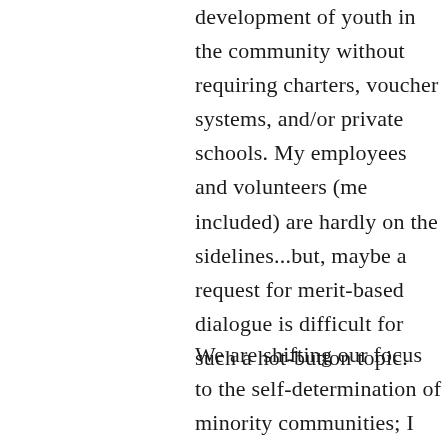development of youth in the community without requiring charters, voucher systems, and/or private schools. My employees and volunteers (me included) are hardly on the sidelines...but, maybe a request for merit-based dialogue is difficult for such a hot-button topic.
We are shifting our focus to the self-determination of minority communities; I hope